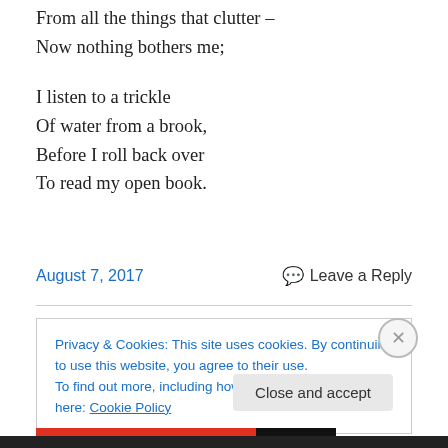From all the things that clutter –
Now nothing bothers me;
I listen to a trickle
Of water from a brook,
Before I roll back over
To read my open book.
August 7, 2017
Leave a Reply
Privacy & Cookies: This site uses cookies. By continuing to use this website, you agree to their use. To find out more, including how to control cookies, see here: Cookie Policy